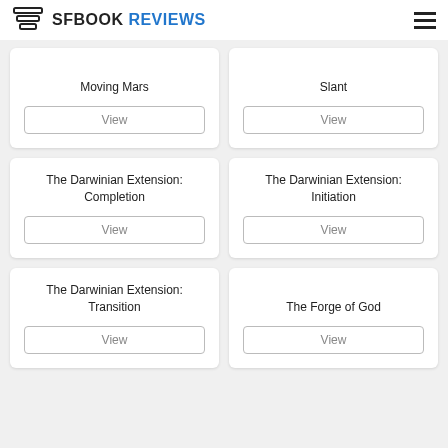SFBOOK REVIEWS
Moving Mars
View
Slant
View
The Darwinian Extension: Completion
View
The Darwinian Extension: Initiation
View
The Darwinian Extension: Transition
View
The Forge of God
View